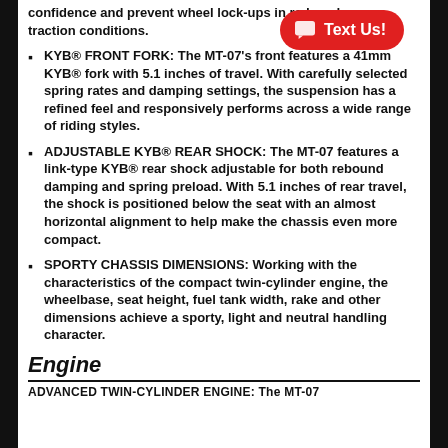confidence and prevent wheel lock-ups in reduced traction conditions.
KYB® FRONT FORK: The MT-07's front features a 41mm KYB® fork with 5.1 inches of travel. With carefully selected spring rates and damping settings, the suspension has a refined feel and responsively performs across a wide range of riding styles.
ADJUSTABLE KYB® REAR SHOCK: The MT-07 features a link-type KYB® rear shock adjustable for both rebound damping and spring preload. With 5.1 inches of rear travel, the shock is positioned below the seat with an almost horizontal alignment to help make the chassis even more compact.
SPORTY CHASSIS DIMENSIONS: Working with the characteristics of the compact twin-cylinder engine, the wheelbase, seat height, fuel tank width, rake and other dimensions achieve a sporty, light and neutral handling character.
Engine
ADVANCED TWIN-CYLINDER ENGINE: The MT-07